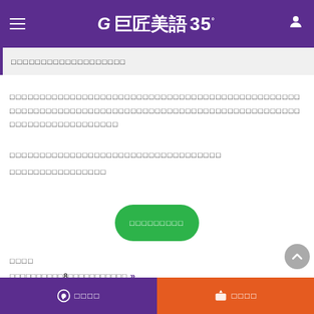巨匠美語35
□□□□□□□□□□□□□□□□□□□
□□□□□□□□□□□□□□□□□□□□□□□□□□□□□□□□□□□□□□□□□□□□□□□□□□□□□□□□□□□□□□□□□□□□□□□□□□□□□□□□□□□□□□□□□□□□□□□□□□□□□□□□□□
□□□□□□□□□□□□□□□□□□□□□□□□□□□□□□□□□□□
□□□□□□□□□□□□□□□□
[Figure (other): Green rounded button with Chinese text]
□□□□
□□□□□□□□□□□8□□□□□□□□□□□
□□□□ □□□□